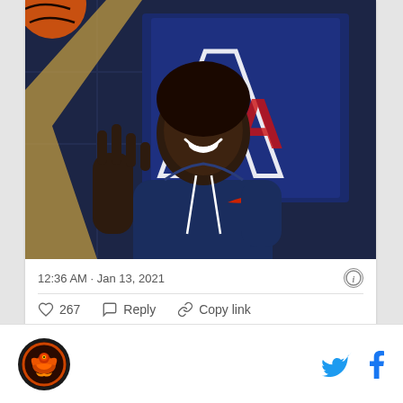[Figure (photo): A female basketball player wearing a navy University of Arizona hoodie with Nike logo, smiling and holding up fingers, posed in front of an Arizona 'A' logo backdrop in blue and red]
12:36 AM · Jan 13, 2021
267  Reply  Copy link
Read 3 replies
[Figure (logo): Sports team logo - circular logo with a bird/phoenix and flames, orange and black colors]